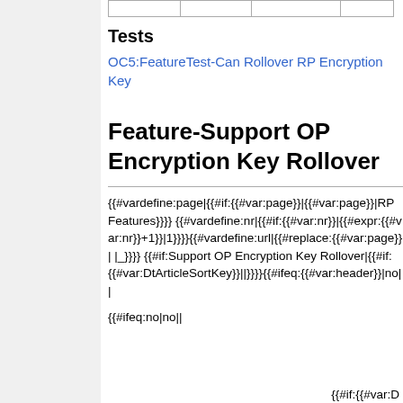|   |   |   |   |
Tests
OC5:FeatureTest-Can Rollover RP Encryption Key
Feature-Support OP Encryption Key Rollover
{{#vardefine:page|{{#if:{{#var:page}}|{{#var:page}}|RP Features}}}} {{#vardefine:nr|{{#if:{{#var:nr}}|{{#expr:{{#var:nr}}+1}}|1}}}}{{#vardefine:url|{{#replace:{{#var:page}}| |_}}}} {{#if:Support OP Encryption Key Rollover|{{#if:{{#var:DtArticleSortKey}}||}}}}{{#ifeq:{{#var:header}}|no||
{{#ifeq:no|no||
{{#if:{{#var:D